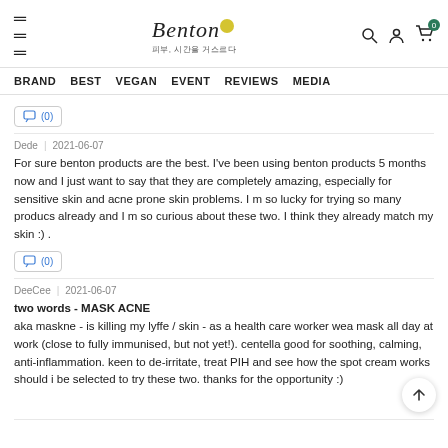Benton — 피부, 시간을 거스르다 | BRAND BEST VEGAN EVENT REVIEWS MEDIA
(0)
Dede | 2021-06-07
For sure benton products are the best. I've been using benton products 5 months now and I just want to say that they are completely amazing, especially for sensitive skin and acne prone skin problems. I m so lucky for trying so many producs already and I m so curious about these two. I think they already match my skin :) .
(0)
DeeCee | 2021-06-07
two words - MASK ACNE
aka maskne - is killing my lyffe / skin - as a health care worker wea mask all day at work (close to fully immunised, but not yet!). centella good for soothing, calming, anti-inflammation. keen to de-irritate, treat PIH and see how the spot cream works should i be selected to try these two. thanks for the opportunity :)